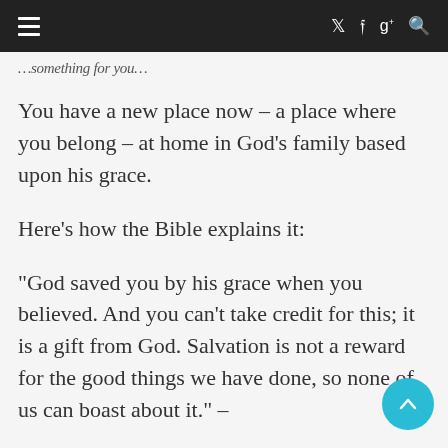Navigation bar with hamburger menu and social icons (Twitter, Facebook, Google+, Search)
…something for you…
You have a new place now – a place where you belong – at home in God's family based upon his grace.
Here's how the Bible explains it:
“God saved you by his grace when you believed. And you can’t take credit for this; it is a gift from God. Salvation is not a reward for the good things we have done, so none of us can boast about it.” –